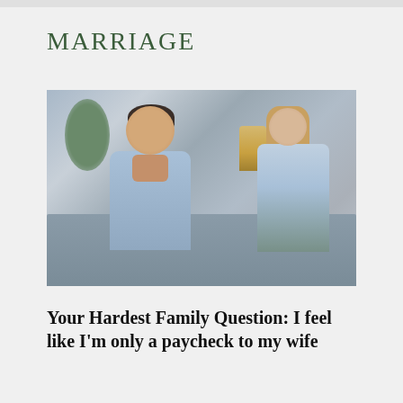MARRIAGE
[Figure (photo): A man and woman sitting apart on a couch, the man with his head bowed and hands clasped, the woman looking at him with a concerned expression. Indoor living room setting.]
Your Hardest Family Question: I feel like I'm only a paycheck to my wife